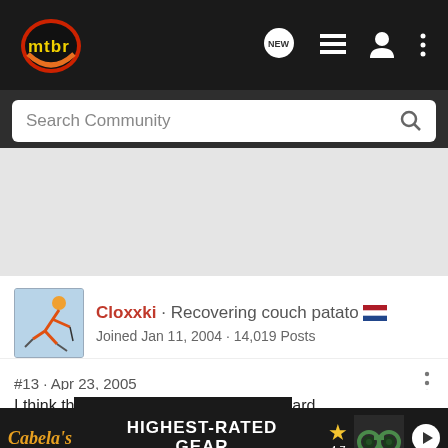[Figure (logo): mtbr logo in top navigation bar — circular logo with orange/red circle and yellow 'mtbr' text]
[Figure (screenshot): Navigation icons: NEW speech bubble, list icon, user icon, three-dot menu]
Search Community
Cloxxki · Recovering couch patato 🇳🇱
Joined Jan 11, 2004 · 14,019 Posts
#13 · Apr 23, 2005
I think th...ard about it.
[Figure (screenshot): Cabela's advertisement banner: HIGHEST-RATED GEAR with star rating 4.7 and binoculars image]